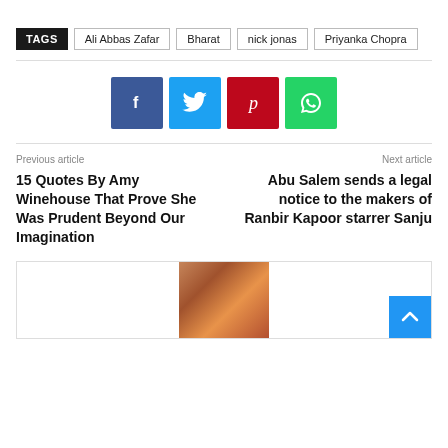TAGS | Ali Abbas Zafar | Bharat | nick jonas | Priyanka Chopra
[Figure (infographic): Social sharing buttons: Facebook (blue), Twitter (light blue), Pinterest (red), WhatsApp (green)]
Previous article
15 Quotes By Amy Winehouse That Prove She Was Prudent Beyond Our Imagination
Next article
Abu Salem sends a legal notice to the makers of Ranbir Kapoor starrer Sanju
[Figure (photo): Partial photograph of a woman at bottom of page]